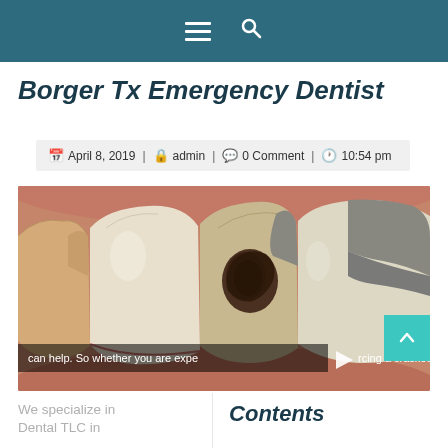Navigation menu and search icons
Borger Tx Emergency Dentist
April 8, 2019 | admin | 0 Comment | 10:54 pm
[Figure (photo): Close-up photograph of human teeth showing dental decay and cavities on molars, with pink gum tissue visible. An overlaid video caption reads: can help. So whether you are experiencing a cracked tooth,]
We specialize in Dental TLC in
Contents